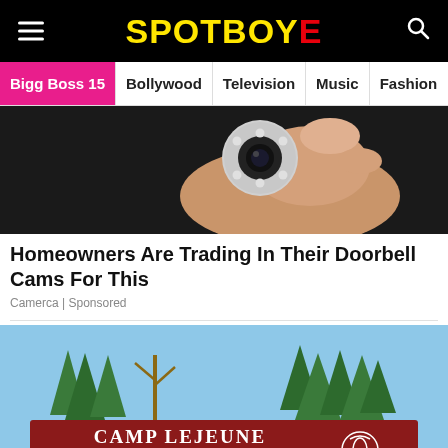SPOTBOYE
Bigg Boss 15 | Bollywood | Television | Music | Fashion
[Figure (photo): A hand holding a small round security camera against a dark background]
Homeowners Are Trading In Their Doorbell Cams For This
Camerca | Sponsored
[Figure (photo): Camp Lejeune sign reading CAMP LEJEUNE HOME OF EXPEDITIONARY FORCES IN READINESS with trees and sky in background]